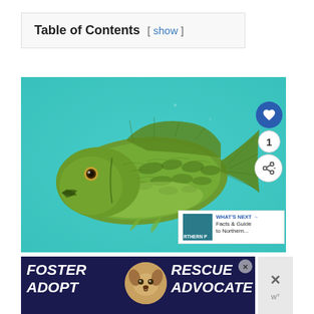Table of Contents [ show ]
[Figure (photo): Underwater photo of a green bass fish (smallmouth or largemouth bass) against a teal/turquoise background. The fish is shown in full profile facing left, with mottled green coloring and visible scales and fins.]
[Figure (screenshot): UI overlay showing a blue heart/favorite button with count '1' and a share button, plus a 'WHAT'S NEXT' panel linking to 'Facts & Guide to Northern...' with a thumbnail image.]
[Figure (photo): Advertisement banner with dark blue background reading 'FOSTER ADOPT' and 'RESCUE ADVOCATE' in large white italic text with a dog image in the center.]